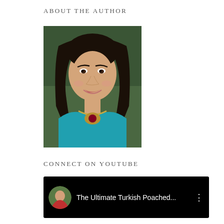ABOUT THE AUTHOR
[Figure (photo): Portrait photo of a woman with long dark hair wearing a teal/turquoise top and ornate necklace, smiling, with green foliage in background]
CONNECT ON YOUTUBE
[Figure (screenshot): YouTube video widget with black background showing a circular avatar of a woman in red and the title 'The Ultimate Turkish Poached...' with a three-dot menu icon]